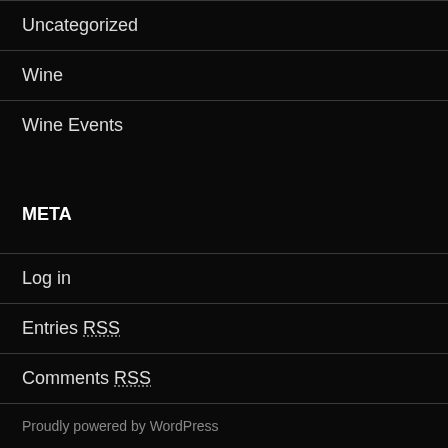Uncategorized
Wine
Wine Events
META
Log in
Entries RSS
Comments RSS
WordPress.org
Proudly powered by WordPress